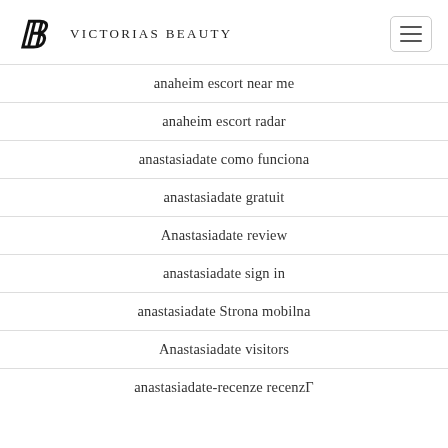Victorias Beauty
anaheim escort near me
anaheim escort radar
anastasiadate como funciona
anastasiadate gratuit
Anastasiadate review
anastasiadate sign in
anastasiadate Strona mobilna
Anastasiadate visitors
anastasiadate-recenze recenzΓ